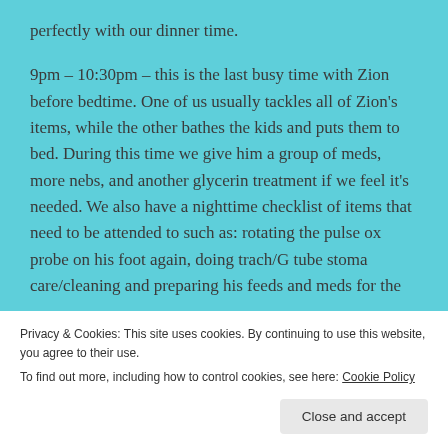perfectly with our dinner time.
9pm – 10:30pm – this is the last busy time with Zion before bedtime. One of us usually tackles all of Zion's items, while the other bathes the kids and puts them to bed. During this time we give him a group of meds, more nebs, and another glycerin treatment if we feel it's needed. We also have a nighttime checklist of items that need to be attended to such as: rotating the pulse ox probe on his foot again, doing trach/G tube stoma care/cleaning and preparing his feeds and meds for the
Privacy & Cookies: This site uses cookies. By continuing to use this website, you agree to their use.
To find out more, including how to control cookies, see here: Cookie Policy
Close and accept